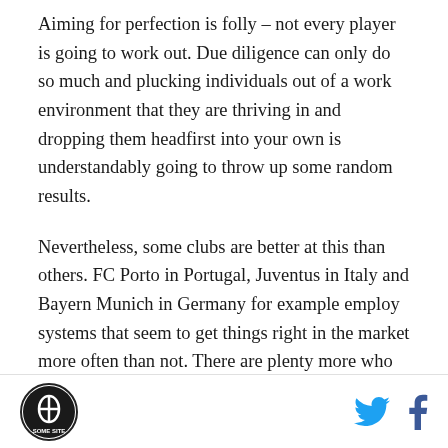Aiming for perfection is folly – not every player is going to work out. Due diligence can only do so much and plucking individuals out of a work environment that they are thriving in and dropping them headfirst into your own is understandably going to throw up some random results.
Nevertheless, some clubs are better at this than others. FC Porto in Portugal, Juventus in Italy and Bayern Munich in Germany for example employ systems that seem to get things right in the market more often than not. There are plenty more who can claim to be savvy market operators, though the rest would probably accept a 50/50 success/failure rate as
[logo] [twitter] [facebook]